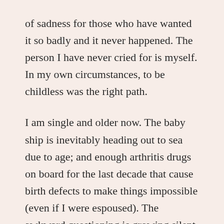of sadness for those who have wanted it so badly and it never happened. The person I have never cried for is myself. In my own circumstances, to be childless was the right path.

I am single and older now. The baby ship is inevitably heading out to sea due to age; and enough arthritis drugs on board for the last decade that cause birth defects to make things impossible (even if I were espoused). The awkward questioning is growing silent, although it still pops up. Had #dontmentionthewar ended sooner, perhaps I would have met someone different and changed my mind. Perhaps he would have been the protective, decent type of guy who made my alarm clock ding on occasion. We'll never know, and it is not